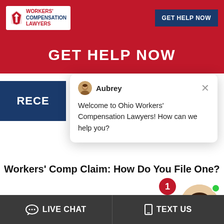[Figure (screenshot): Workers' Compensation Lawyers logo with red icon on white background]
GET HELP NOW
RECE...
[Figure (screenshot): Chat popup with Aubrey avatar and message: Welcome to Ohio Workers' Compensation Lawyers! How can we help you?]
Workers' Comp Claim: How Do You File One?
August 11, 2022
If you've ever been injured at work, then you know how confusing the workers comp system can be. Many Columbus injury lawyers aren't even comfortable
[Figure (photo): Online Agent avatar photo of smiling woman with Online Agent label and green dot indicator, notification badge showing 1]
LIVE CHAT   TEXT US